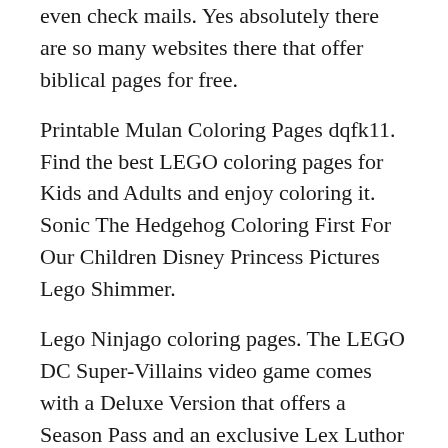even check mails. Yes absolutely there are so many websites there that offer biblical pages for free.
Printable Mulan Coloring Pages dqfk11. Find the best LEGO coloring pages for Kids and Adults and enjoy coloring it. Sonic The Hedgehog Coloring First For Our Children Disney Princess Pictures Lego Shimmer.
Lego Ninjago coloring pages. The LEGO DC Super-Villains video game comes with a Deluxe Version that offers a Season Pass and an exclusive Lex Luthor physical minifigure. Please contact us if you think we are infringing